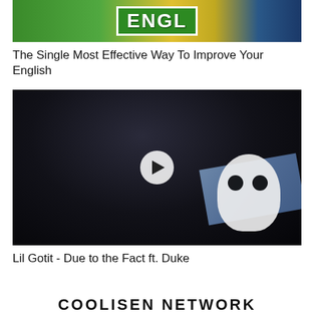[Figure (photo): Thumbnail image showing English learning content with green sign and striped clothing]
The Single Most Effective Way To Improve Your English
[Figure (photo): Video thumbnail of Lil Gotit wearing black hoodie with play button overlay, ghost plush and denim visible]
Lil Gotit - Due to the Fact ft. Duke
COOLISEN NETWORK